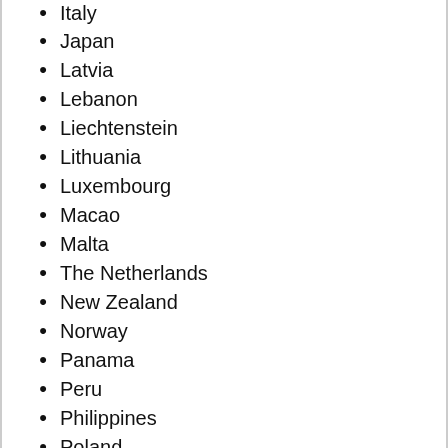Italy
Japan
Latvia
Lebanon
Liechtenstein
Lithuania
Luxembourg
Macao
Malta
The Netherlands
New Zealand
Norway
Panama
Peru
Philippines
Poland
Portugal